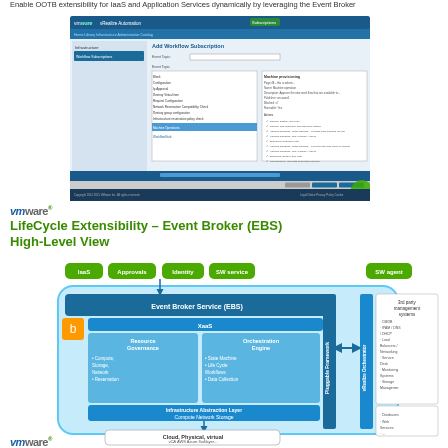Enable OOTB extensibility for IaaS and Application Services dynamically by leveraging the Event Broker
[Figure (screenshot): VMware vRealize Automation screenshot showing Event Broker subscription configuration with Event Topics list and Machine provisioning details panel]
vm ware
LifeCycle Extensibility – Event Broker (EBS) High-Level View
[Figure (engineering-diagram): High-level architectural diagram showing Event Broker Service (EBS) with IaaS, Approvals, Identity, SW service, SW agent inputs feeding into Event Broker Service containing XaaS layer with Resource Governance and Orchestration Engine, connected to Pluggable Framework and vRealize Orchestrator, with 3rd party management systems listed including CMDB, IPAM/DNS/DHCP, Load Balancers/Networking, Service Desk, Monitoring Systems, Storage Management, Databases, Web Services, and Cloud/Physical/Virtual infrastructure layer at bottom showing vCA, AWS, Azure, Softlayer]
vm ware